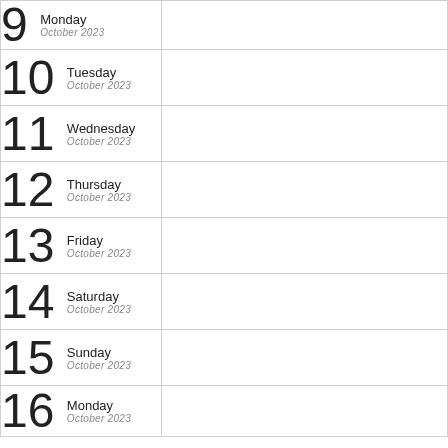| Date | Notes |
| --- | --- |
| 9 Monday October 2023 |  |
| 10 Tuesday October 2023 |  |
| 11 Wednesday October 2023 |  |
| 12 Thursday October 2023 |  |
| 13 Friday October 2023 |  |
| 14 Saturday October 2023 |  |
| 15 Sunday October 2023 |  |
| 16 Monday October 2023 |  |